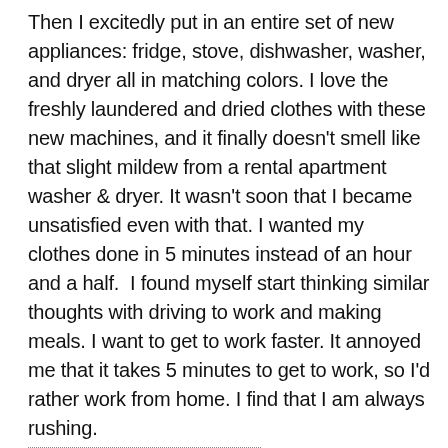Then I excitedly put in an entire set of new appliances: fridge, stove, dishwasher, washer, and dryer all in matching colors. I love the freshly laundered and dried clothes with these new machines, and it finally doesn't smell like that slight mildew from a rental apartment washer & dryer. It wasn't soon that I became unsatisfied even with that. I wanted my clothes done in 5 minutes instead of an hour and a half.  I found myself start thinking similar thoughts with driving to work and making meals. I want to get to work faster. It annoyed me that it takes 5 minutes to get to work, so I'd rather work from home. I find that I am always rushing.
Rushing for the laundry to be done, rushing to go to work, rushing to come home, rushing to cook quickly (or Uber Eats before I head home).